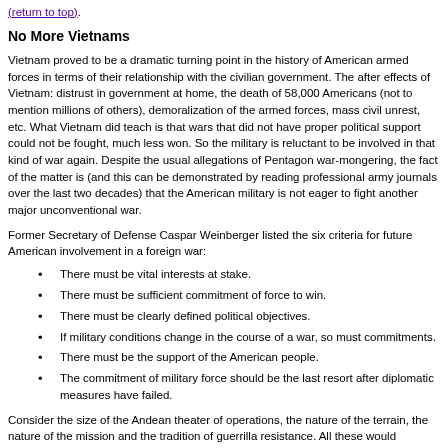(return to top).
No More Vietnams
Vietnam proved to be a dramatic turning point in the history of American armed forces in terms of their relationship with the civilian government. The after effects of Vietnam: distrust in government at home, the death of 58,000 Americans (not to mention millions of others), demoralization of the armed forces, mass civil unrest, etc. What Vietnam did teach is that wars that did not have proper political support could not be fought, much less won. So the military is reluctant to be involved in that kind of war again. Despite the usual allegations of Pentagon war-mongering, the fact of the matter is (and this can be demonstrated by reading professional army journals over the last two decades) that the American military is not eager to fight another major unconventional war.
Former Secretary of Defense Caspar Weinberger listed the six criteria for future American involvement in a foreign war:
There must be vital interests at stake.
There must be sufficient commitment of force to win.
There must be clearly defined political objectives.
If military conditions change in the course of a war, so must commitments.
There must be the support of the American people.
The commitment of military force should be the last resort after diplomatic measures have failed.
Consider the size of the Andean theater of operations, the nature of the terrain, the nature of the mission and the tradition of guerrilla resistance. All these would preclude a successful American intervention. While an American military intervention might gain some initial success, the final result would only see the U.S. bogged down in an endless guerrilla war similar to Vietnam. Simplistic military solutions, like unrestricted bombing, would prove futile, again given the size of the theater and the nature of the "enemy."